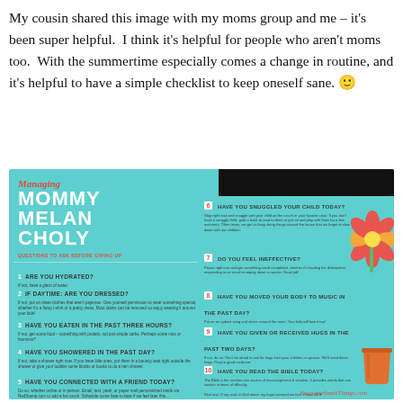My cousin shared this image with my moms group and me – it's been super helpful.  I think it's helpful for people who aren't moms too.  With the summertime especially comes a change in routine, and it's helpful to have a simple checklist to keep oneself sane. 🙂
[Figure (infographic): Managing Mommy Melancholy – Questions to Ask Before Giving Up. A teal/turquoise infographic listing 10 self-care checklist questions for moms: 1. Are you hydrated? 2. If daytime: are you dressed? 3. Have you eaten in the past three hours? 4. Have you showered in the past day? 5. Have you connected with a friend today? 6. Have you snuggled your child today? 7. Do you feel ineffective? 8. Have you moved your body to music in the past day? 9. Have you given or received hugs in the past two days? 10. Have you read the Bible today? EverydaySmallThings.com]